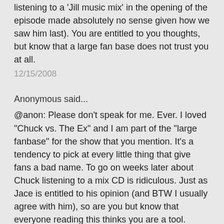listening to a 'Jill music mix' in the opening of the episode made absolutely no sense given how we saw him last). You are entitled to you thoughts, but know that a large fan base does not trust you at all.
12/15/2008
Anonymous said...
@anon: Please don't speak for me. Ever. I loved "Chuck vs. The Ex" and I am part of the "large fanbase" for the show that you mention. It's a tendency to pick at every little thing that give fans a bad name. To go on weeks later about Chuck listening to a mix CD is ridiculous. Just as Jace is entitled to his opinion (and BTW I usually agree with him), so are you but know that everyone reading this thinks you are a tool.
12/15/2008